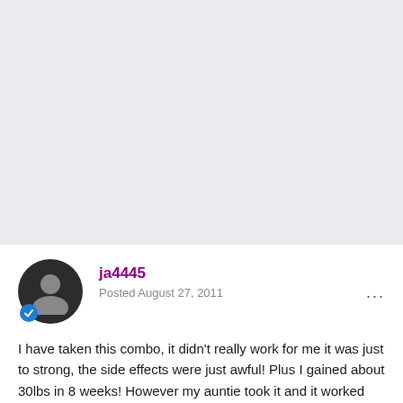[Figure (other): Gray rectangular banner/advertisement area at the top of the page]
ja4445
Posted August 27, 2011
I have taken this combo, it didn't really work for me it was just to strong, the side effects were just awful! Plus I gained about 30lbs in 8 weeks! However my auntie took it and it worked really well for her! She